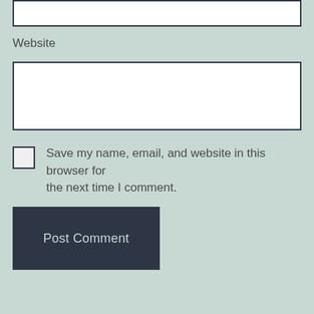[Figure (screenshot): Top portion of a white input box (text field), cropped at the top of the page]
Website
[Figure (screenshot): White input text field for Website URL entry]
Save my name, email, and website in this browser for the next time I comment.
[Figure (screenshot): Dark navy blue Post Comment button]